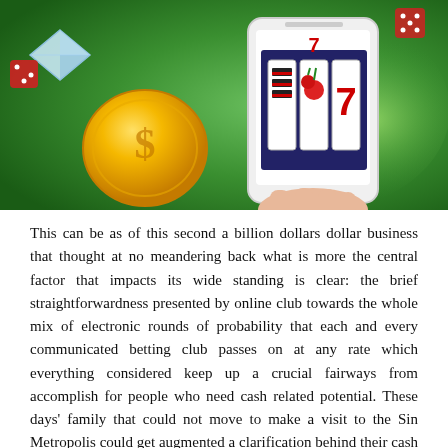[Figure (illustration): Casino-themed illustration on a green background showing a hand holding a smartphone displaying a slot machine with cherries and 7s, a large gold coin with a dollar sign, a diamond, and red dice scattered around.]
This can be as of this second a billion dollars dollar business that thought at no meandering back what is more the central factor that impacts its wide standing is clear: the brief straightforwardness presented by online club towards the whole mix of electronic rounds of probability that each and every communicated betting club passes on at any rate which everything considered keep up a crucial fairways from accomplish for people who need cash related potential. These days' family that could not move to make a visit to the Sin Metropolis could get augmented a clarification behind their cash singling out the web betting 바카라사이트. They might have the likelihood to attempt the acclaimed web club games4.